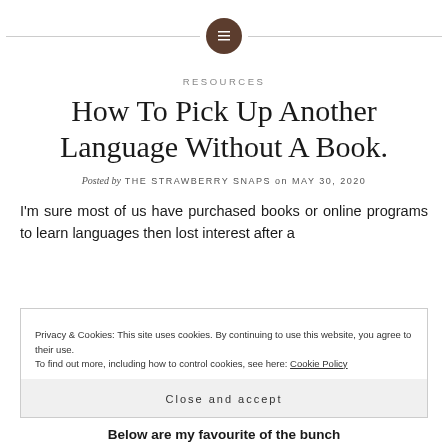[Figure (other): Decorative horizontal line with centered dark brown circle containing a menu/list icon]
RESOURCES
How To Pick Up Another Language Without A Book.
Posted by THE STRAWBERRY SNAPS on MAY 30, 2020
I'm sure most of us have purchased books or online programs to learn languages then lost interest after a
Privacy & Cookies: This site uses cookies. By continuing to use this website, you agree to their use. To find out more, including how to control cookies, see here: Cookie Policy
Close and accept
Below are my favourite of the bunch